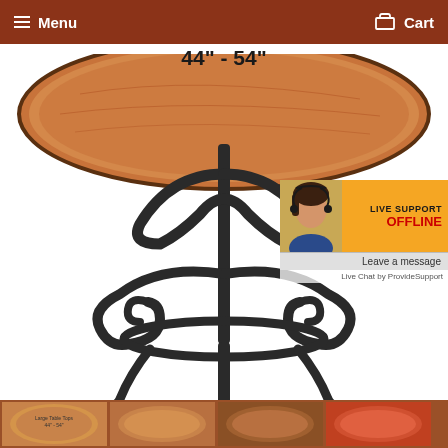Menu   Cart
[Figure (photo): A round copper/wood table top with ornate wrought iron base/pedestal with scroll details. Text overlay reads: 44" - 54"]
[Figure (infographic): Live Support widget showing OFFLINE status with female customer support agent photo. Says 'Leave a message' and 'Live Chat by ProvideSupport']
[Figure (photo): Thumbnail strip showing 4 smaller images of table tops and table bases at the bottom of the page]